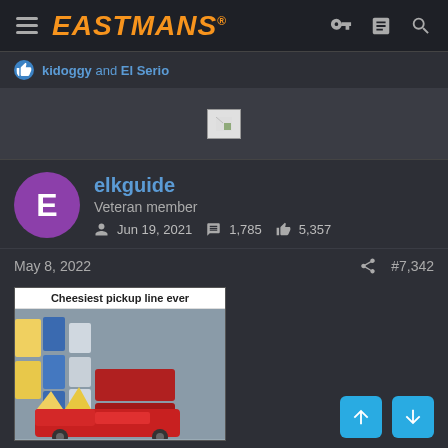EASTMANS
kidoggy and El Serio
[Figure (photo): Broken image placeholder]
elkguide
Veteran member
Jun 19, 2021  1,785  5,357
May 8, 2022  #7,342
[Figure (photo): Meme image titled 'Cheesiest pickup line ever' showing rows of pickup trucks with large cheese wedges on them]